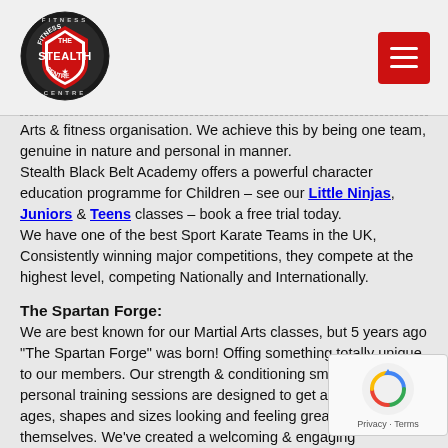[Figure (logo): Stealth Fitness Centre logo — circular badge with red and black shield, stylized 'Stealth' text]
Arts & fitness organisation. We achieve this by being one team, genuine in nature and personal in manner.
Stealth Black Belt Academy offers a powerful character education programme for Children – see our Little Ninjas, Juniors & Teens classes – book a free trial today.
We have one of the best Sport Karate Teams in the UK, Consistently winning major competitions, they compete at the highest level, competing Nationally and Internationally.
The Spartan Forge:
We are best known for our Martial Arts classes, but 5 years ago "The Spartan Forge" was born! Offing something totally unique to our members. Our strength & conditioning small group personal training sessions are designed to get adults of all ages, shapes and sizes looking and feeling great about themselves. We've created a welcoming & engaging environment we pride ourselves that training at The Spartan